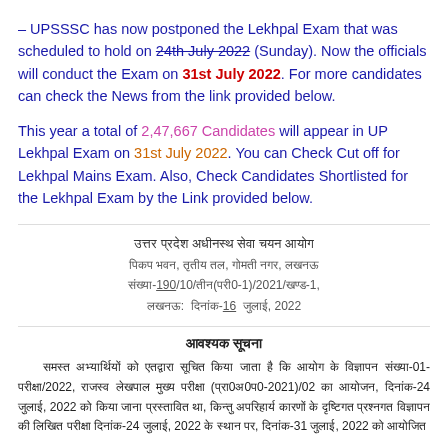– UPSSSC has now postponed the Lekhpal Exam that was scheduled to hold on 24th July 2022 (Sunday). Now the officials will conduct the Exam on 31st July 2022. For more candidates can check the News from the link provided below.
This year a total of 2,47,667 Candidates will appear in UP Lekhpal Exam on 31st July 2022. You can Check Cut off for Lekhpal Mains Exam. Also, Check Candidates Shortlisted for the Lekhpal Exam by the Link provided below.
उत्तर प्रदेश अधीनस्थ सेवा चयन आयोग
पिकप भवन, तृतीय तल, गोमती नगर, लखनऊ
संख्या-190/10/तीन(परी0-1)/2021/खण्ड-1,
लखनऊ:  दिनांक-16  जुलाई, 2022
आवश्यक सूचना
समस्त अभ्यार्थियों को एतद्वारा सूचित किया जाता है कि आयोग के विज्ञापन संख्या-01-परीक्षा/2022, राजस्व लेखपाल मुख्य परीक्षा (प्रा0अ0प0-2021)/02 का आयोजन, दिनांक-24 जुलाई, 2022 को किया जाना प्रस्तावित था, किन्तु अपरिहार्य कारणों के दृष्टिगत प्रश्नगत विज्ञापन की लिखित परीक्षा दिनांक-24 जुलाई, 2022 के स्थान पर, दिनांक-31 जुलाई, 2022 को आयोजित